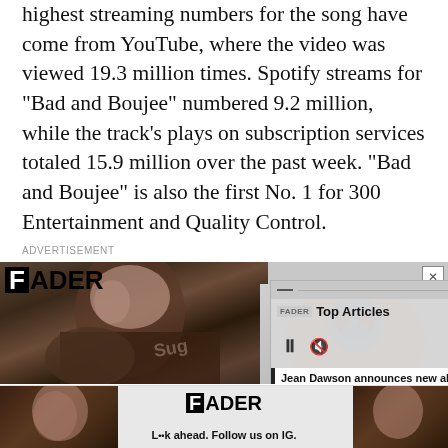highest streaming numbers for the song have come from YouTube, where the video was viewed 19.3 million times. Spotify streams for "Bad and Boujee" numbered 9.2 million, while the track's plays on subscription services totaled 15.9 million over the past week. "Bad and Boujee" is also the first No. 1 for 300 Entertainment and Quality Control.
ADVERTISEMENT
[Figure (screenshot): FADER magazine advertisement banner with woman photo and overlay panel showing 'Top Articles', Jean Dawson music news, playback controls, and orange-hooded figure]
[Figure (screenshot): Bottom FADER advertisement banner with 'L••k ahead. Follow us on IG.' text and photos of a woman on both sides]